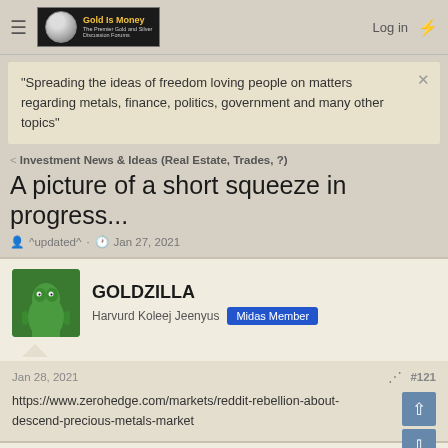Gold Is Money — The Premier Gold and Silver Discussion Forums | Log in
"Spreading the ideas of freedom loving people on matters regarding metals, finance, politics, government and many other topics"
< Investment News & Ideas (Real Estate, Trades, ?)
A picture of a short squeeze in progress...
^updated^ · Jan 27, 2021
GOLDZILLA
Harvurd Koleej Jeenyus | Midas Member
Jan 28, 2021  #121
https://www.zerohedge.com/markets/reddit-rebellion-about-descend-precious-metals-market
gliddenralston